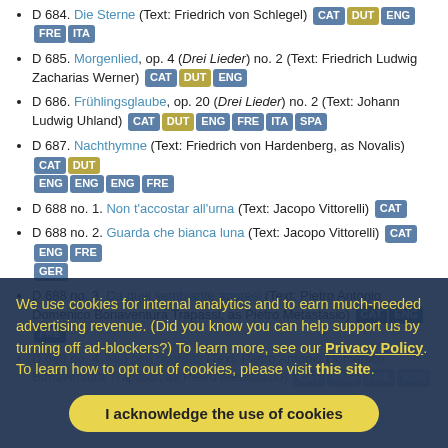D 684. Die Sterne (Text: Friedrich von Schlegel) CAT DUT ENG FRE ITA
D 685. Morgenlied, op. 4 (Drei Lieder) no. 2 (Text: Friedrich Ludwig Zacharias Werner) CAT DUT ENG
D 686. Frühlingsglaube, op. 20 (Drei Lieder) no. 2 (Text: Johann Ludwig Uhland) CAT DUT ENG FRE ITA SPA
D 687. Nachthymne (Text: Friedrich von Hardenberg, as Novalis) CAT DUT ENG ENG ENG FRE
D 688 no. 1. Non t'accostar all'urna (Text: Jacopo Vittorelli) CAT
D 688 no. 2. Guarda che bianca luna (Text: Jacopo Vittorelli) CAT ENG FRE GER
D 688 no. 3. Da quel sembiante appresi (Text: Pietro Antonio Domenico Bonaventura Trapassi, as Pietro Metastasio) CAT ENG FRE
D 688 no. 4. Mio ben ricordati (Text: Pietro Antonio Domenico Bonaventura Trapassi, as Pietro Metastasio) CAT ENG FRE RUS
We use cookies for internal analytics and to earn much-needed advertising revenue. (Did you know you can help support us by turning off ad-blockers?) To learn more, see our Privacy Policy. To learn how to opt out of cookies, please visit this site.
I acknowledge the use of cookies